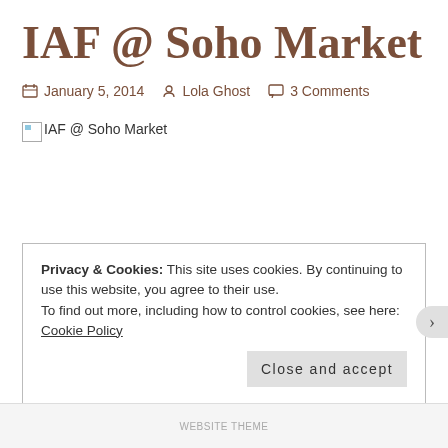IAF @ Soho Market
📅 January 5, 2014  👤 Lola Ghost  💬 3 Comments
[Figure (photo): Broken image placeholder with alt text 'IAF @ Soho Market']
Privacy & Cookies: This site uses cookies. By continuing to use this website, you agree to their use.
To find out more, including how to control cookies, see here: Cookie Policy
Close and accept
WEBSITE THEME